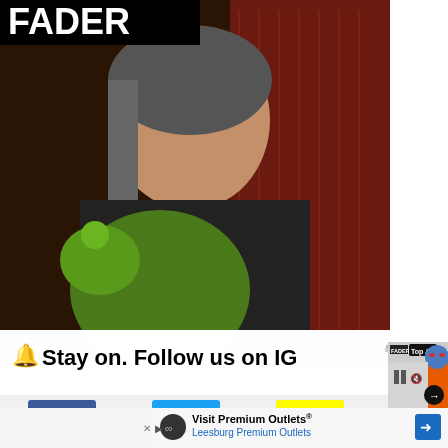[Figure (screenshot): Screenshot of The Fader website showing a photo of Billie Eilish holding a green stuffed animal, with 'Stay on. Follow us on IG' overlay text, social media icons (Facebook, Twitter, Snapchat), and a 'Top Articles' popup showing Jean Dawson in an orange hoodie with blue face paint. Text reads 'Jean Dawson announces new album, shares 3 HEADS'. Bottom shows 'Visit Premium Outlets / Leesburg Premium Outlets' ad. CURRENT MOOD, DI... text visible.]